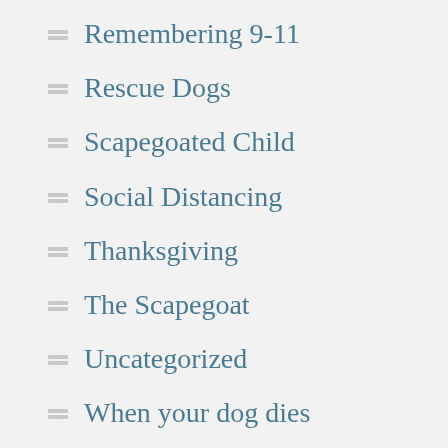Remembering 9-11
Rescue Dogs
Scapegoated Child
Social Distancing
Thanksgiving
The Scapegoat
Uncategorized
When your dog dies
Writer's block
Writing a memoir